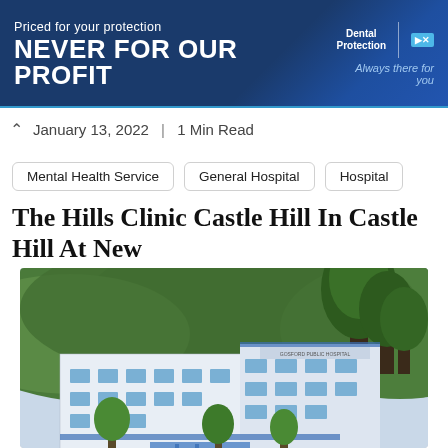[Figure (other): Dental Protection advertisement banner with dark blue background. Text reads 'Priced for your protection' and 'NEVER FOR OUR PROFIT'. Dental Protection logo with 'Always there for you' tagline on the right.]
January 13, 2022  |  1 Min Read
Mental Health Service
General Hospital
Hospital
The Hills Clinic Castle Hill In Castle Hill At New
[Figure (photo): Exterior photograph of a multi-story hospital building (Gosford Public Hospital) surrounded by trees and green hills in the background. Cars are parked in a car park in the foreground. Social media sharing buttons (Facebook, LinkedIn, Pinterest, Twitter, Share) overlaid at the bottom of the image.]